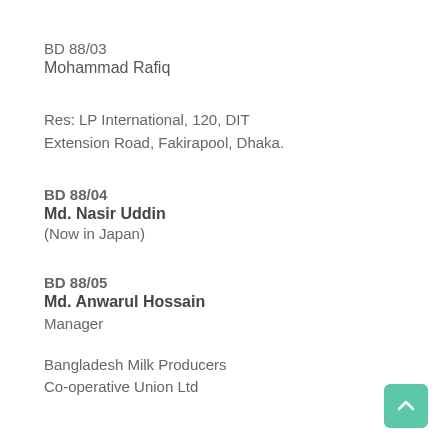BD 88/03
Mohammad Rafiq
Res: LP International, 120, DIT Extension Road, Fakirapool, Dhaka.
BD 88/04
Md. Nasir Uddin
(Now in Japan)
BD 88/05
Md. Anwarul Hossain
Manager

Bangladesh Milk Producers
Co-operative Union Ltd